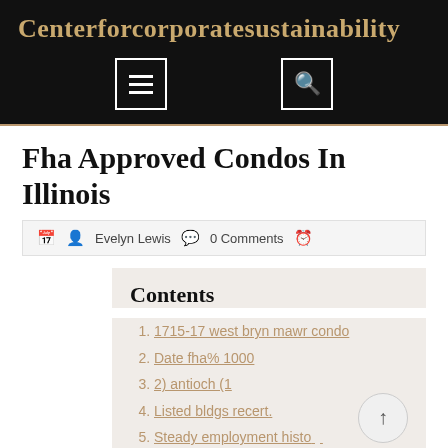Centerforcorporatesustainability
Fha Approved Condos In Illinois
Evelyn Lewis   0 Comments
Contents
1. 1715-17 west bryn mawr condo
2. Date fha% 1000
3. 2) antioch (1
4. Listed bldgs recert.
5. Steady employment history